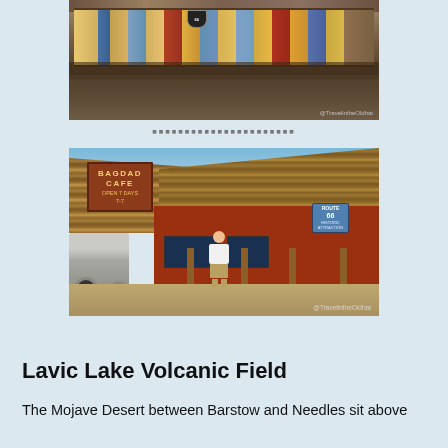[Figure (photo): Interior or exterior shot of a Route 66 souvenir shop showing signs and merchandise on display, with a Route 66 watermark in the lower right corner.]
[Figure (photo): Photo of Bagdad Cafe, a famous Route 66 landmark in the Mojave Desert. A person stands in front of the building with a thatched roof and a sign reading 'BAGDAD CAFE OPEN 7 DAYS 7-7'. A Route 66 attraction sign is visible on the building. Watermark reads @TravelintheOldhat.]
Lavic Lake Volcanic Field
The Mojave Desert between Barstow and Needles sit above